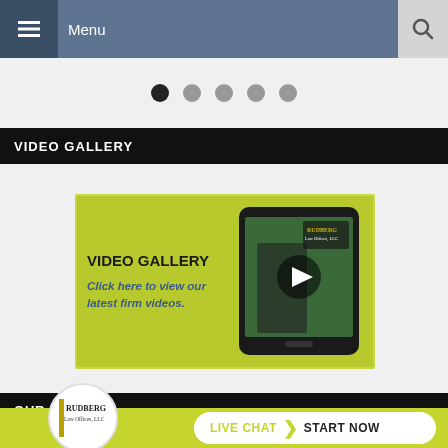Menu
[Figure (screenshot): Carousel navigation dots: one dark filled dot and four gray dots indicating a slideshow position indicator]
VIDEO GALLERY
[Figure (screenshot): Video gallery promotional card with yellow-green background showing text 'VIDEO GALLERY - Click here to view our latest firm videos.' alongside a tablet device displaying a video of a woman in a law office with Rudberg Law Offices LLC signage and a play button overlay]
OUR OFFICE
[Figure (logo): Rudberg Law Offices LLC logo in a white circle]
LIVE CHAT START NOW